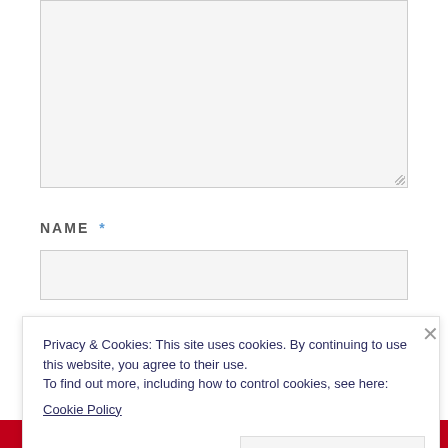[Figure (screenshot): Empty textarea form field with light gray background and resize handle in bottom-right corner]
NAME *
[Figure (screenshot): Empty text input field for name with light gray background]
Privacy & Cookies: This site uses cookies. By continuing to use this website, you agree to their use.
To find out more, including how to control cookies, see here:
Cookie Policy
Close and accept